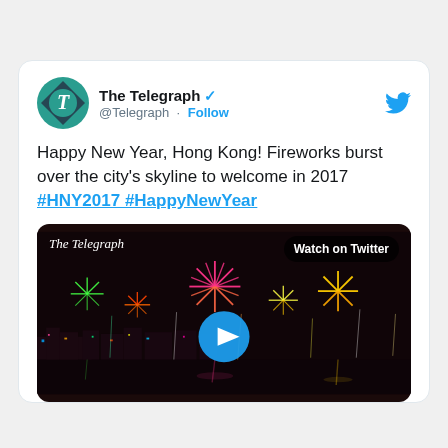[Figure (screenshot): A Twitter/X embed card from @Telegraph (The Telegraph) with verified badge. Contains tweet text: 'Happy New Year, Hong Kong! Fireworks burst over the city's skyline to welcome in 2017 #HNY2017 #HappyNewYear'. Below is a video thumbnail showing fireworks over Hong Kong harbor at night with a blue play button and 'Watch on Twitter' label.]